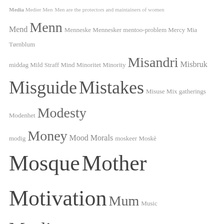[Figure (other): Tag cloud (word cloud) containing terms related to Muslim identity, Norwegian society, and social topics. Words appear in varying sizes indicating frequency/importance. Terms include: Media Medier Men, Mend, Menn, Menneske, Mennesker, mentoo-problem, Mercy, Mia, Tørnblum, middag, Mild, Straff, Mind, Minoritet, Minority, Misandri, Misbruk, Misguide, Mistakes, Misuse, Mix gatherings, Modenhet, Modesty, modig, Money, Mood, Morals, moskeer, Moskè, Mosque, Mother, Motivation, Mum, Music, Muslim, Muslimer, Muslim Ummah, My favourites :), mørket, Mørke tall, Naat-team, Naat / Nasheed, Nafs, Namaz, Naseeha, Nav, Negativity, Neglect, Neighbours, Nelson Mandela, Nettverk, News paper, Niqab, Niyah, Noise, Non-mahram, Non-muslim, Non-muslims, Nonhalalfood, Nordmenn, Norge, Normer, Norway, NRK, Nurture, Ny politi-direktør, nærmiljø, Nærpolitireformen, Nøytral, Obedience, Obey commandments, Object, Obligations, Obstacles, Opinion, opinionsledere, oppdragelse, Opportunities, Opportunity, Oppression, Orphans, Oslo, Osloskolen, Politi]